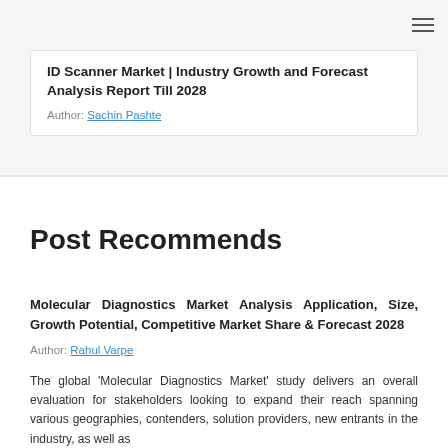ID Scanner Market | Industry Growth and Forecast Analysis Report Till 2028
Author: Sachin Pashte
Post Recommends
Molecular Diagnostics Market Analysis Application, Size, Growth Potential, Competitive Market Share & Forecast 2028
Author: Rahul Varpe
The global 'Molecular Diagnostics Market' study delivers an overall evaluation for stakeholders looking to expand their reach spanning various geographies, contenders, solution providers, new entrants in the industry, as well as